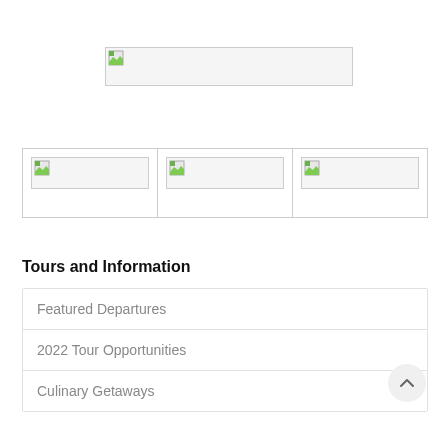[Figure (photo): Banner image placeholder (broken image icon)]
[Figure (photo): Left column image placeholder (broken image icon)]
[Figure (photo): Center column image placeholder (broken image icon)]
[Figure (photo): Right column image placeholder (broken image icon)]
Tours and Information
Featured Departures
2022 Tour Opportunities
Culinary Getaways